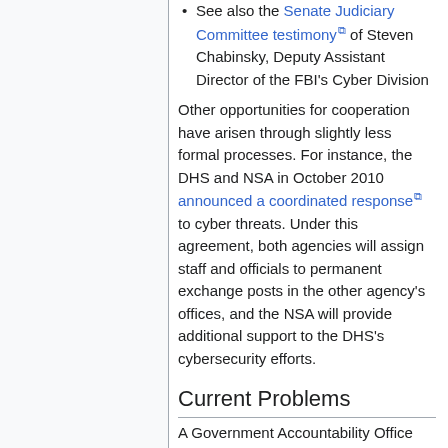See also the Senate Judiciary Committee testimony of Steven Chabinsky, Deputy Assistant Director of the FBI's Cyber Division
Other opportunities for cooperation have arisen through slightly less formal processes. For instance, the DHS and NSA in October 2010 announced a coordinated response to cyber threats. Under this agreement, both agencies will assign staff and officials to permanent exchange posts in the other agency's offices, and the NSA will provide additional support to the DHS's cybersecurity efforts.
Current Problems
A Government Accountability Office report following the Comprehensive...